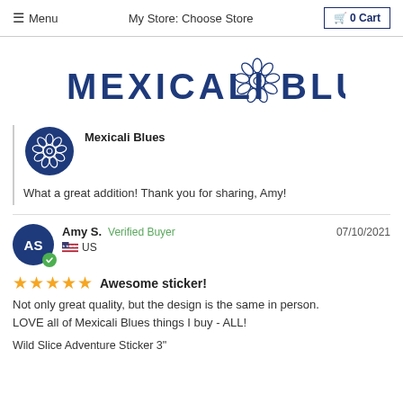≡ Menu   My Store: Choose Store   🛒 0 Cart
[Figure (logo): Mexicali Blues logo with decorative flower/mandala icon in navy blue]
[Figure (logo): Mexicali Blues circular flower logo icon (navy blue)]
Mexicali Blues
What a great addition! Thank you for sharing, Amy!
Amy S.   Verified Buyer   07/10/2021   US
★★★★★  Awesome sticker!
Not only great quality, but the design is the same in person. LOVE all of Mexicali Blues things I buy - ALL!
Wild Slice Adventure Sticker 3"